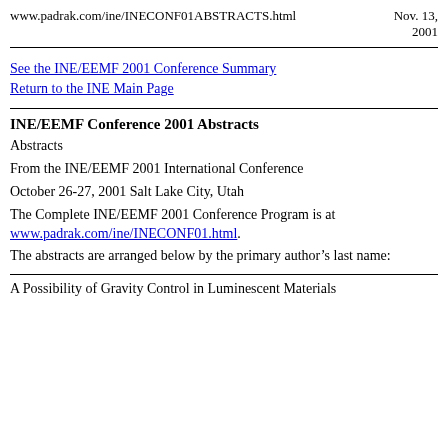www.padrak.com/ine/INECONF01ABSTRACTS.html   Nov. 13, 2001
See the INE/EEMF 2001 Conference Summary
Return to the INE Main Page
INE/EEMF Conference 2001 Abstracts
Abstracts
From the INE/EEMF 2001 International Conference
October 26-27, 2001 Salt Lake City, Utah
The Complete INE/EEMF 2001 Conference Program is at www.padrak.com/ine/INECONF01.html.
The abstracts are arranged below by the primary author’s last name:
A Possibility of Gravity Control in Luminescent Materials